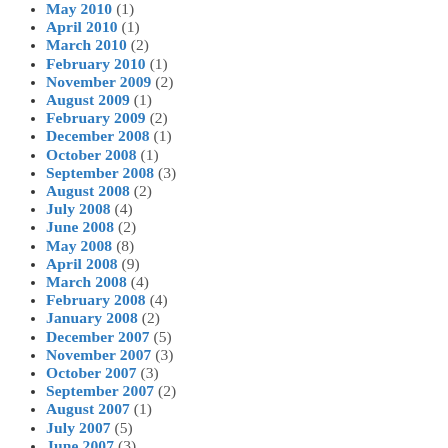May 2010 (1)
April 2010 (1)
March 2010 (2)
February 2010 (1)
November 2009 (2)
August 2009 (1)
February 2009 (2)
December 2008 (1)
October 2008 (1)
September 2008 (3)
August 2008 (2)
July 2008 (4)
June 2008 (2)
May 2008 (8)
April 2008 (9)
March 2008 (4)
February 2008 (4)
January 2008 (2)
December 2007 (5)
November 2007 (3)
October 2007 (3)
September 2007 (2)
August 2007 (1)
July 2007 (5)
June 2007 (3)
May 2007 (...)